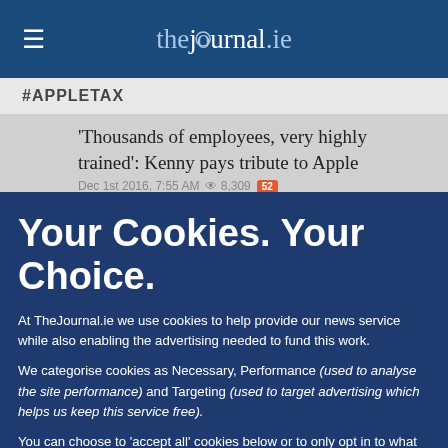thejournal.ie
#APPLETAX
'Thousands of employees, very highly trained': Kenny pays tribute to Apple
Dec 1st 2016, 7:55 AM  8,309  52
Your Cookies. Your Choice.
At TheJournal.ie we use cookies to help provide our news service while also enabling the advertising needed to fund this work.
We categorise cookies as Necessary, Performance (used to analyse the site performance) and Targeting (used to target advertising which helps us keep this service free).
You can choose to 'accept all' cookies below or to only opt in to what you are happy to accept using 'manage cookies'. You can also change your cookie settings at any